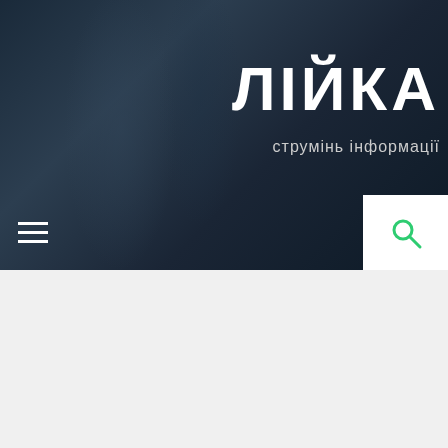ЛІЙКА — струмінь інформації
Trump Lawyer: President Not Under Investigation
Posted on 18/06/2017 by Liypol
U.S. President Donald Trump is not under investigation by the prosecutor probing